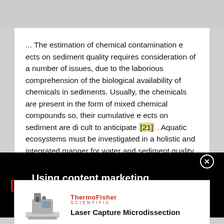... The estimation of chemical contamination e ects on sediment quality requires consideration of a number of issues, due to the laborious comprehension of the biological availability of chemicals in sediments. Usually, the chemicals are present in the form of mixed chemical compounds so, their cumulative e ects on sediment are di cult to anticipate [21] . Aquatic ecosystems must be investigated in a holistic and integrated manner for water and sediment quality assessment. ...
[Figure (screenshot): Black advertisement banner with red bracket symbol on the left, white text reading 'Using content marketing in full-funnel campaigns' and a close button on the right]
[Figure (screenshot): ThermoFisher Scientific advertisement showing a Laser Capture Microdissection instrument on the left and the brand logo and product name on the right]